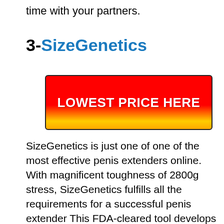time with your partners.
3-SizeGenetics
[Figure (other): Red and yellow gradient CTA button with text 'LOWEST PRICE HERE']
SizeGenetics is just one of one of the most effective penis extenders online. With magnificent toughness of 2800g stress, SizeGenetics fulfills all the requirements for a successful penis extender This FDA-cleared tool develops even stress and also offers more difficult and also stronger erections in no time.SizeGenetics supplies cost-free delivery to many parts of the world, purchase this amazing product and also